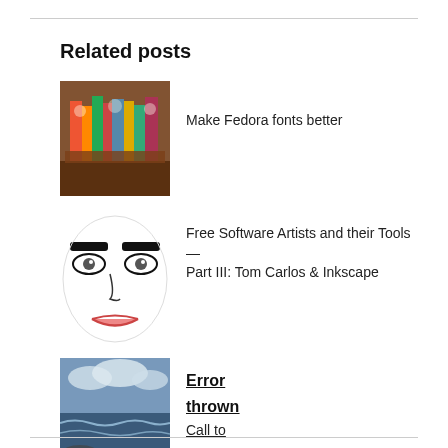Related posts
Make Fedora fonts better
Free Software Artists and their Tools — Part III: Tom Carlos & Inkscape
Error
thrown
Call to undefined function echo_views()